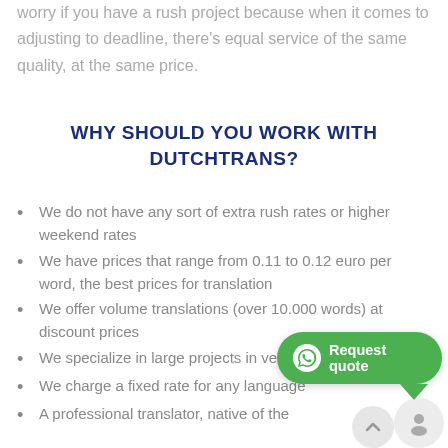worry if you have a rush project because when it comes to adjusting to deadline, there's equal service of the same quality, at the same price.
WHY SHOULD YOU WORK WITH DUTCHTRANS?
We do not have any sort of extra rush rates or higher weekend rates
We have prices that range from 0.11 to 0.12 euro per word, the best prices for translation
We offer volume translations (over 10.000 words) at discount prices
We specialize in large projects in very short deadlines
We charge a fixed rate for any language
A professional translator, native of the